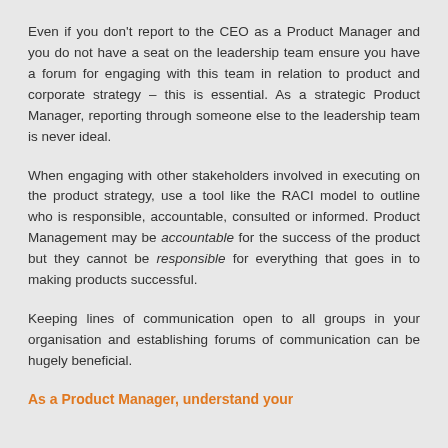Even if you don't report to the CEO as a Product Manager and you do not have a seat on the leadership team ensure you have a forum for engaging with this team in relation to product and corporate strategy – this is essential. As a strategic Product Manager, reporting through someone else to the leadership team is never ideal.
When engaging with other stakeholders involved in executing on the product strategy, use a tool like the RACI model to outline who is responsible, accountable, consulted or informed. Product Management may be accountable for the success of the product but they cannot be responsible for everything that goes in to making products successful.
Keeping lines of communication open to all groups in your organisation and establishing forums of communication can be hugely beneficial.
As a Product Manager, understand your